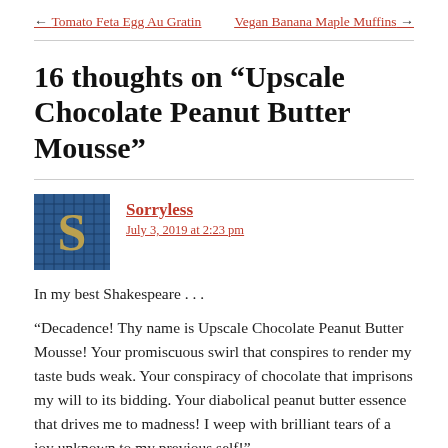← Tomato Feta Egg Au Gratin    Vegan Banana Maple Muffins →
16 thoughts on “Upscale Chocolate Peanut Butter Mousse”
[Figure (photo): Avatar image showing a decorative letter S mosaic tile design in blue and gold]
Sorryless
July 3, 2019 at 2:23 pm
In my best Shakespeare . . .
“Decadence! Thy name is Upscale Chocolate Peanut Butter Mousse! Your promiscuous swirl that conspires to render my taste buds weak. Your conspiracy of chocolate that imprisons my will to its bidding. Your diabolical peanut butter essence that drives me to madness! I weep with brilliant tears of a joy unknown to my previous self!”